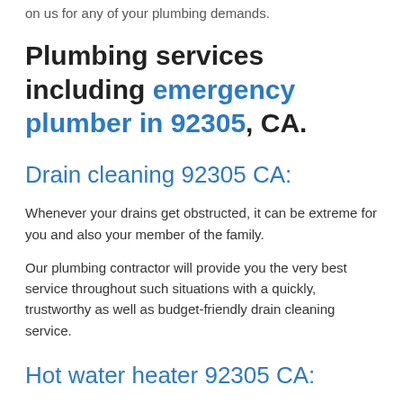on us for any of your plumbing demands.
Plumbing services including emergency plumber in 92305, CA.
Drain cleaning 92305 CA:
Whenever your drains get obstructed, it can be extreme for you and also your member of the family.
Our plumbing contractor will provide you the very best service throughout such situations with a quickly, trustworthy as well as budget-friendly drain cleaning service.
Hot water heater 92305 CA:
The need for water is crucial when it pertains to executing numerous house jobs. This includes washing, shower and even